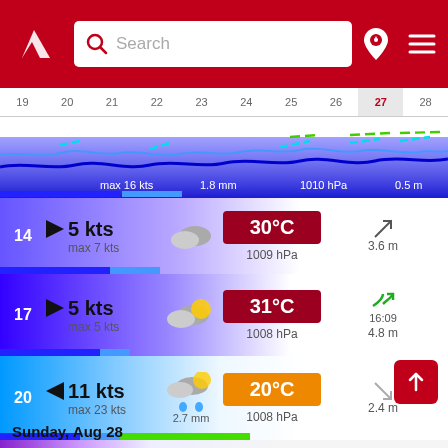[Figure (screenshot): Weather forecast app header with red background, logo, search bar, and navigation icons]
[Figure (other): Date strip showing days 19-28, with 27 highlighted, and wave/wind chart strip below]
14 | 5 kts | max 7 kts | 30°C | 1009 hPa | 3.6 m
17 | 5 kts | max 5 kts | 31°C | 1008 hPa | 16:09 | 4.8 m
20 | 11 kts | max 23 kts | 2.7 mm | 20°C | 1008 hPa | 2.4 m
23 | 2 kts | max 4 kts | 2.1 mm | 19°C | 1010 hPa | 23:02 | 0.5 m
Sunday, Aug 28